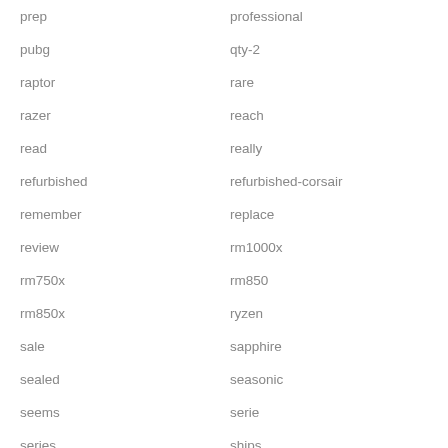prep
professional
pubg
qty-2
raptor
rare
razer
reach
read
really
refurbished
refurbished-corsair
remember
replace
review
rm1000x
rm750x
rm850
rm850x
ryzen
sale
sapphire
sealed
seasonic
seems
serie
series
ships